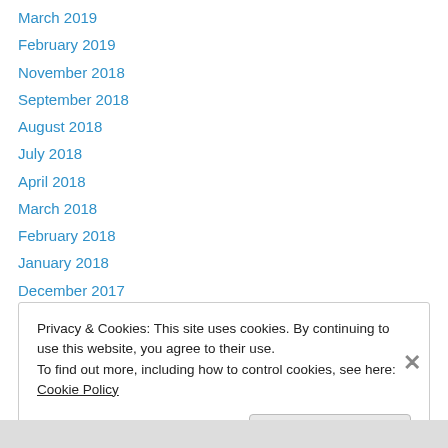March 2019
February 2019
November 2018
September 2018
August 2018
July 2018
April 2018
March 2018
February 2018
January 2018
December 2017
November 2017
October 2017
Privacy & Cookies: This site uses cookies. By continuing to use this website, you agree to their use.
To find out more, including how to control cookies, see here: Cookie Policy
Close and accept